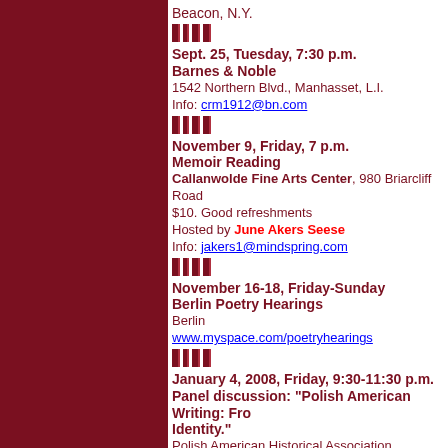Beacon, N.Y.
Sept. 25, Tuesday, 7:30 p.m.
Barnes & Noble
1542 Northern Blvd., Manhasset, L.I.
Info: crm1912@bn.com
November 9, Friday, 7 p.m.
Memoir Reading
Callanwolde Fine Arts Center, 980 Briarcliff Road
$10. Good refreshments
Hosted by June Akers Seese
Info: jakers1@mindspring.com
November 16-18, Friday-Sunday
Berlin Poetry Hearings
Berlin
www.myspace.com/poetryhearings
January 4, 2008, Friday, 9:30-11:30 p.m.
Panel discussion: "Polish American Writing: From Identity."
Polish American Historical Association, Washington
Hope to see you! --Thad Rutkowski